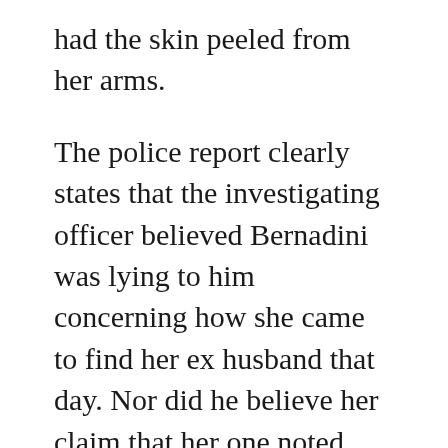had the skin peeled from her arms.
The police report clearly states that the investigating officer believed Bernadini was lying to him concerning how she came to find her ex husband that day. Nor did he believe her claim that her one noted injury came from Mike Rinder.
The Doctor whose office was